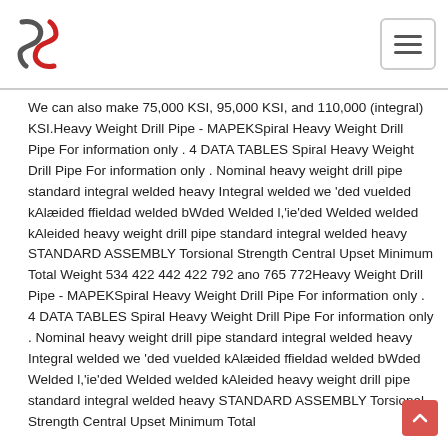We can also make 75,000 KSI, 95,000 KSI, and 110,000 (integral) KSI.Heavy Weight Drill Pipe - MAPEKSpiral Heavy Weight Drill Pipe For information only . 4 DATA TABLES Spiral Heavy Weight Drill Pipe For information only . Nominal heavy weight drill pipe standard integral welded heavy Integral welded we 'ded vuelded kAlæided ffieldad welded bWded Welded l,'ie'ded Welded welded kAleided heavy weight drill pipe standard integral welded heavy STANDARD ASSEMBLY Torsional Strength Central Upset Minimum Total Weight 534 422 442 422 792 ano 765 772Heavy Weight Drill Pipe - MAPEKSpiral Heavy Weight Drill Pipe For information only . 4 DATA TABLES Spiral Heavy Weight Drill Pipe For information only . Nominal heavy weight drill pipe standard integral welded heavy Integral welded we 'ded vuelded kAlæided ffieldad welded bWded Welded l,'ie'ded Welded welded kAleided heavy weight drill pipe standard integral welded heavy STANDARD ASSEMBLY Torsional Strength Central Upset Minimum Total